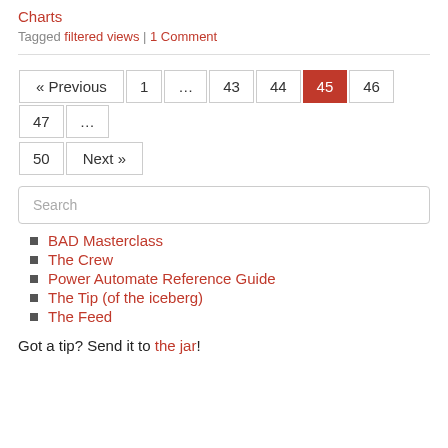Charts
Tagged filtered views | 1 Comment
« Previous 1 … 43 44 45 46 47 … 50 Next »
Search
BAD Masterclass
The Crew
Power Automate Reference Guide
The Tip (of the iceberg)
The Feed
Got a tip? Send it to the jar!